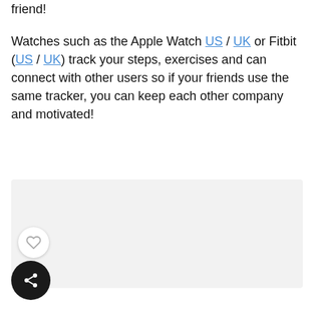friend!
Watches such as the Apple Watch US / UK or Fitbit (US / UK) track your steps, exercises and can connect with other users so if your friends use the same tracker, you can keep each other company and motivated!
[Figure (other): Light gray placeholder image area]